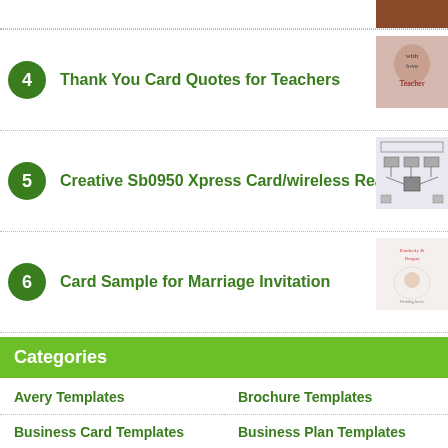4 Thank You Card Quotes for Teachers
5 Creative Sb0950 Xpress Card/wireless Ready Box
6 Card Sample for Marriage Invitation
Categories
Avery Templates
Brochure Templates
Business Card Templates
Business Plan Templates
Calendar Templates
Certificate Templates
Contract Template
Cover Letter Templates